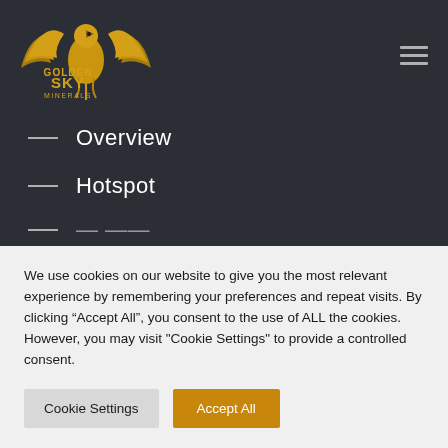[Figure (logo): Golden Sky Minerals logo — golden phoenix/eagle with wings spread above text 'GOLDEN SKY MINERALS']
Overview
Hotspot
We use cookies on our website to give you the most relevant experience by remembering your preferences and repeat visits. By clicking “Accept All”, you consent to the use of ALL the cookies. However, you may visit "Cookie Settings" to provide a controlled consent.
Cookie Settings
Accept All